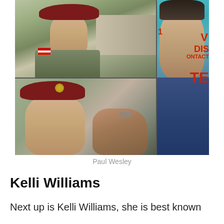[Figure (photo): Two photos on the left showing a young man in US Army military uniform with maroon beret, and one large photo on the right showing Paul Wesley, a dark-haired man in a denim shirt at what appears to be a media event with teal background.]
Paul Wesley
Kelli Williams
Next up is Kelli Williams, she is best known